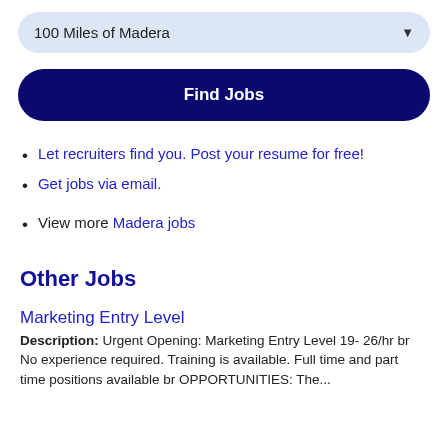100 Miles of Madera
Find Jobs
Let recruiters find you. Post your resume for free!
Get jobs via email.
View more Madera jobs
Other Jobs
Marketing Entry Level
Description: Urgent Opening: Marketing Entry Level 19- 26/hr br No experience required. Training is available. Full time and part time positions available br OPPORTUNITIES: The...